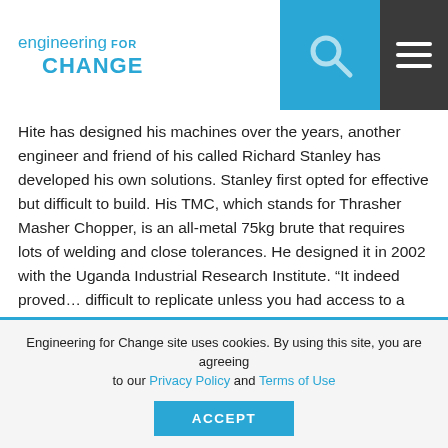engineering for CHANGE
Hite has designed his machines over the years, another engineer and friend of his called Richard Stanley has developed his own solutions. Stanley first opted for effective but difficult to build. His TMC, which stands for Thrasher Masher Chopper, is an all-metal 75kg brute that requires lots of welding and close tolerances. He designed it in 2002 with the Uganda Industrial Research Institute. “It indeed proved… difficult to replicate unless you had access to a well equipped workshop, which is fine for urban settings but impractical for the rural and peri-urban environment,” Stanley says.
The Easy Bio Chop and Bio Grind came next as an answer to the easy-to-build side of the equation. They don’t need welding, but, as Guinto points out, they can break down
Engineering for Change site uses cookies. By using this site, you are agreeing to our Privacy Policy and Terms of Use
ACCEPT